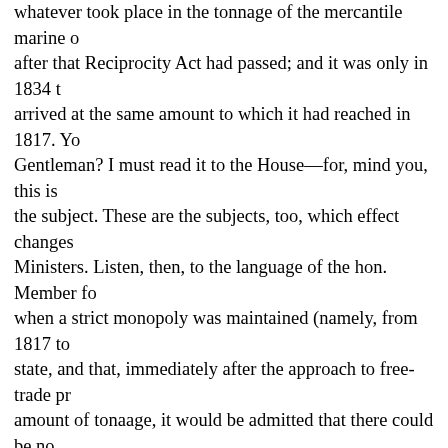whatever took place in the tonnage of the mercantile marine of after that Reciprocity Act had passed; and it was only in 1834 t arrived at the same amount to which it had reached in 1817. Yo Gentleman? I must read it to the House—for, mind you, this is the subject. These are the subjects, too, which effect changes Ministers. Listen, then, to the language of the hon. Member fo when a strict monopoly was maintained (namely, from 1817 to state, and that, immediately after the approach to free-trade pr amount of tonaage, it would be admitted that there could be no and British shipowners to compete with foreigners." The hon. G the trade of this country, and of all other countries with which w the Reciprocity Act, and the present time, and drew, of course, his argument. But the hon. Gentleman took care never to give single treaty. Our treaty of reciprocity with Russia is only of the tonnage in trade with Russia was from 239,000 tons in 1824, t the twenty-two years, the increase of 200,000 tons was owing denounces. So, again, I cannot allow his speech to pass witho when he compared our trade with the whole world at the perio regard to our trade with the whole world, he found that in 1824 outwards was 3,291,000 tons, and the tonnage of foreign ships that in 1816 the tonnage of foreign ships had increased to 3,72